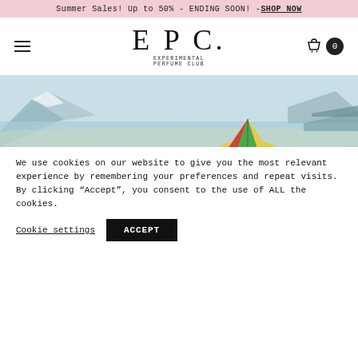Summer Sales! Up to 50% - ENDING SOON! - SHOP NOW
[Figure (logo): EPC Experimental Perfume Club logo with hamburger menu and cart icon]
[Figure (photo): Winter beach scene with snowy hills, calm water, and a colorful beach umbrella partially visible at the bottom]
We use cookies on our website to give you the most relevant experience by remembering your preferences and repeat visits. By clicking “Accept”, you consent to the use of ALL the cookies.
Cookie settings  ACCEPT